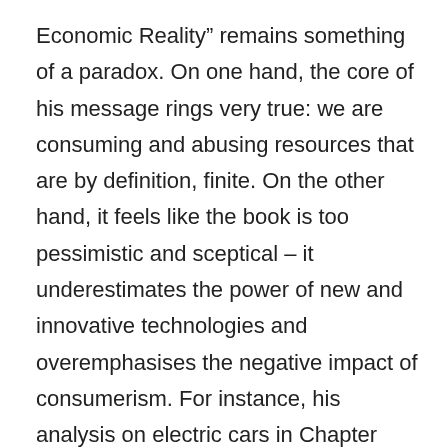Economic Reality” remains something of a paradox. On one hand, the core of his message rings very true: we are consuming and abusing resources that are by definition, finite. On the other hand, it feels like the book is too pessimistic and sceptical – it underestimates the power of new and innovative technologies and overemphasises the negative impact of consumerism. For instance, his analysis on electric cars in Chapter four (page 159) is superficial at best. Heinberg fails to consider the rapid